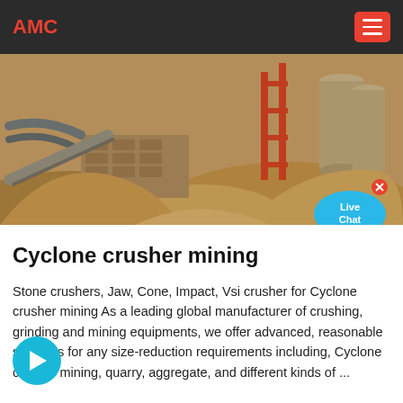AMC
[Figure (photo): Mining site photograph showing excavation equipment, stone walls, red scaffolding, pipes, and large piles of earth/aggregate material]
Cyclone crusher mining
Stone crushers, Jaw, Cone, Impact, Vsi crusher for Cyclone crusher mining As a leading global manufacturer of crushing, grinding and mining equipments, we offer advanced, reasonable solutions for any size-reduction requirements including, Cyclone crusher mining, quarry, aggregate, and different kinds of ...
[Figure (other): Cyan circular arrow button (next/forward navigation button)]